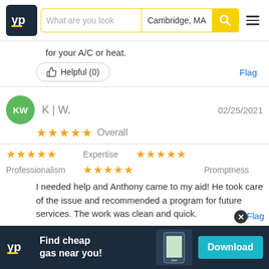[Figure (screenshot): YP (Yellow Pages) website header with logo, search bar showing 'What are you look' placeholder and 'Cambridge, MA' location, yellow search button with magnifier icon, and hamburger menu icon]
for your A/C or heat.
Helpful (0)
Flag
K | W.
02/25/2021
Overall
Expertise
Professionalism
Promptness
I needed help and Anthony came to my aid! He took care of the issue and recommended a program for future services. The work was clean and quick.
Helpful (0)
Flag
[Figure (screenshot): YP advertisement banner: 'Find cheap gas near you!' with Download button and phone mockup]